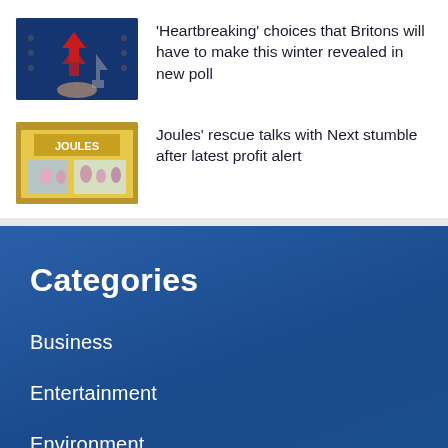[Figure (photo): Thumbnail image with red upward arrows and downward arrows on a dark blue background with a hand holding something]
'Heartbreaking' choices that Britons will have to make this winter revealed in new poll
[Figure (photo): Thumbnail image of a Joules retail store front with shoppers visible inside]
Joules' rescue talks with Next stumble after latest profit alert
Categories
Business
Entertainment
Environment
Politics